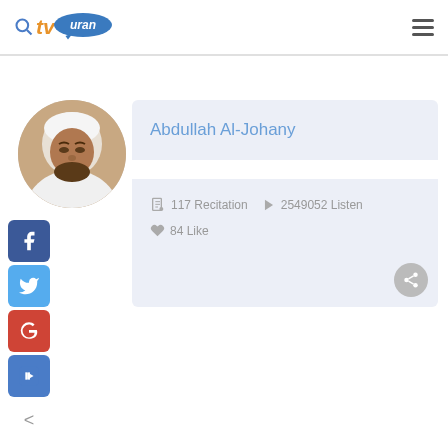tv Quran — navigation header with logo and menu
[Figure (photo): Profile photo of Abdullah Al-Johany, a man in white Islamic dress]
Abdullah Al-Johany
117 Recitation   2549052 Listen   84 Like